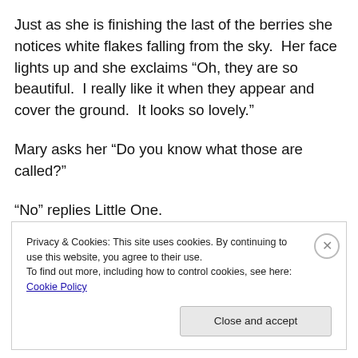Just as she is finishing the last of the berries she notices white flakes falling from the sky.  Her face lights up and she exclaims “Oh, they are so beautiful.  I really like it when they appear and cover the ground.  It looks so lovely.”
Mary asks her “Do you know what those are called?”
“No” replies Little One.
“They are called snowflakes, and when they cover the
Privacy & Cookies: This site uses cookies. By continuing to use this website, you agree to their use.
To find out more, including how to control cookies, see here: Cookie Policy
Close and accept